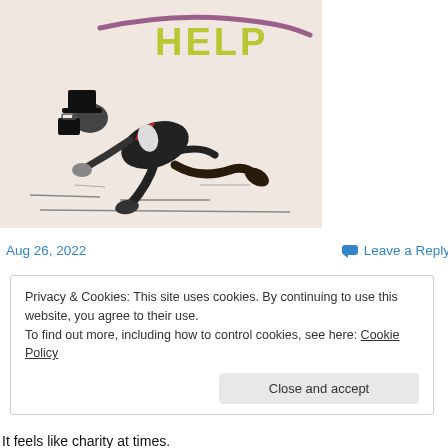[Figure (illustration): Hand-drawn illustration of a person in a black suit and top hat running/crawling urgently. Above them is the word 'HELP' written in yellow-green letters with a purple swooping line beneath it. The figure has a red accessory (bowtie or neckerchief). The background is beige/cream.]
Aug 26, 2022
Leave a Reply
Privacy & Cookies: This site uses cookies. By continuing to use this website, you agree to their use.
To find out more, including how to control cookies, see here: Cookie Policy
Close and accept
It feels like charity at times.